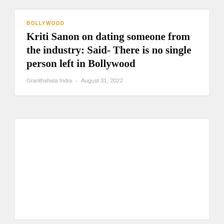BOLLYWOOD
Kriti Sanon on dating someone from the industry: Said- There is no single person left in Bollywood
Granthshala India  -  August 31, 2022